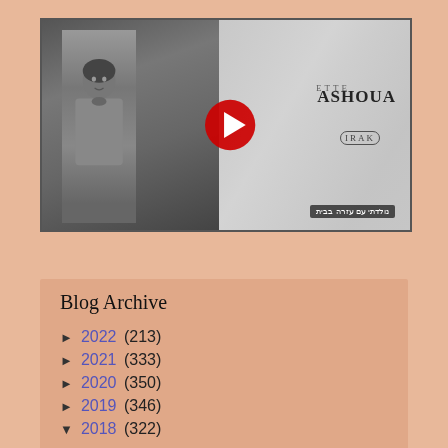[Figure (screenshot): YouTube video thumbnail showing a black and white photo of a woman overlaid on document background, with text 'ASHOUA IRAK' and Hebrew subtitle. A YouTube play button (red circle with white triangle) is centered on the video.]
Blog Archive
► 2022 (213)
► 2021 (333)
► 2020 (350)
► 2019 (346)
▼ 2018 (322)